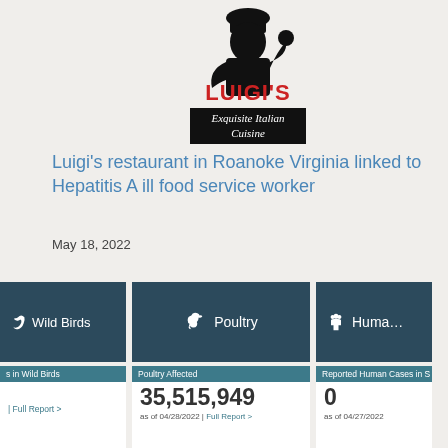[Figure (logo): Luigi's Exquisite Italian Cuisine restaurant logo — black silhouette of chef with red text 'LUIGI'S' and black banner reading 'Exquisite Italian Cuisine']
Luigi's restaurant in Roanoke Virginia linked to Hepatitis A ill food service worker
May 18, 2022
[Figure (infographic): Dashboard cards showing Wild Birds, Poultry (35,515,949 poultry affected as of 04/28/2022, 29 States with Poultry Outbreaks), and Humans (0 Reported Human Cases as of 04/27/2022, 0 States with Reported Cases) statistics for avian influenza tracking.]